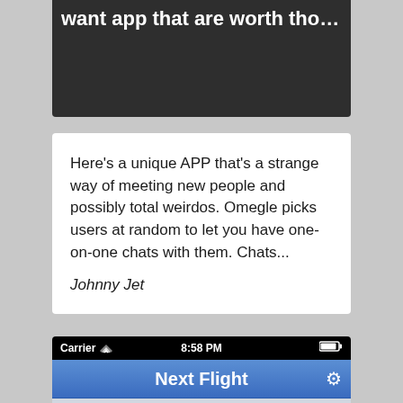[Figure (screenshot): Partially visible dark card at top of page with white text (cropped title)]
Here’s a unique APP that’s a strange way of meeting new people and possibly total weirdos. Omegle picks users at random to let you have one-on-one chats with them. Chats...
Johnny Jet
[Figure (screenshot): iOS app screenshot showing status bar with Carrier, wifi, 8:58 PM, battery; blue nav bar with 'Next Flight' title and wrench icon; app content showing 'Departure Airport' label and 'SFO  SFO International Airp...' field with arrow]